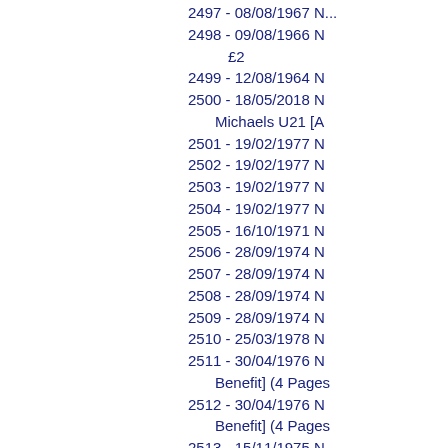2497 - 08/08/1967 ...
2498 - 09/08/1966 ...
£2
2499 - 12/08/1964 ...
2500 - 18/05/2018 ...
Michaels U21 [A...
2501 - 19/02/1977 ...
2502 - 19/02/1977 ...
2503 - 19/02/1977 ...
2504 - 19/02/1977 ...
2505 - 16/10/1971 ...
2506 - 28/09/1974 ...
2507 - 28/09/1974 ...
2508 - 28/09/1974 ...
2509 - 28/09/1974 ...
2510 - 25/03/1978 ...
2511 - 30/04/1976 ...
Benefit] (4 Pages...
2512 - 30/04/1976 ...
Benefit] (4 Pages...
2513 - 15/11/1975 ...
2514 - 28/09/1968 ...
2515 - 08/04/1989 ...
2516 - 12/04/1975 ...